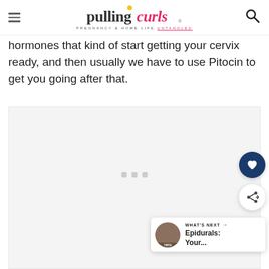pulling curls — PREGNANCY & HOME LIFE UNTANGLED
hormones that kind of start getting your cervix ready, and then usually we have to use Pitocin to get you going after that.
[Figure (other): Advertisement placeholder area with light gray background and three small dots indicating loading content]
[Figure (other): What's Next widget showing a thumbnail image and text 'Epidurals: Your...' with a heart button and share button in the sidebar]